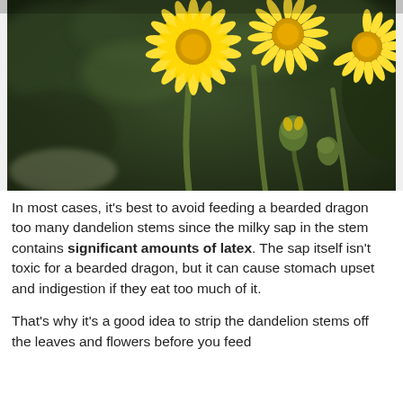[Figure (photo): Close-up photograph of yellow dandelion flowers with green stems against a dark green blurred background. Three full dandelion blooms visible along with one bud.]
In most cases, it's best to avoid feeding a bearded dragon too many dandelion stems since the milky sap in the stem contains significant amounts of latex. The sap itself isn't toxic for a bearded dragon, but it can cause stomach upset and indigestion if they eat too much of it.
That's why it's a good idea to strip the dandelion stems off the leaves and flowers before you feed